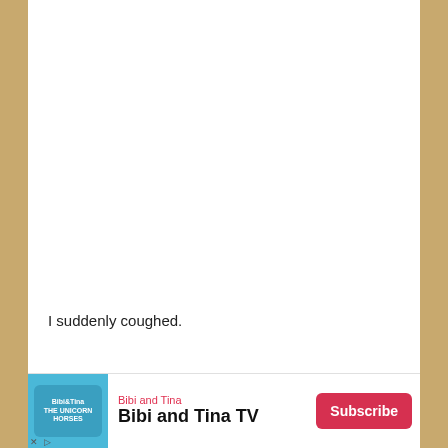I suddenly coughed.
「Hey, what happened!? 」「Is there something wrong?」
[Figure (infographic): Advertisement banner for Bibi and Tina TV with logo, brand name, show title 'Bibi and Tina TV', and a red Subscribe button.]